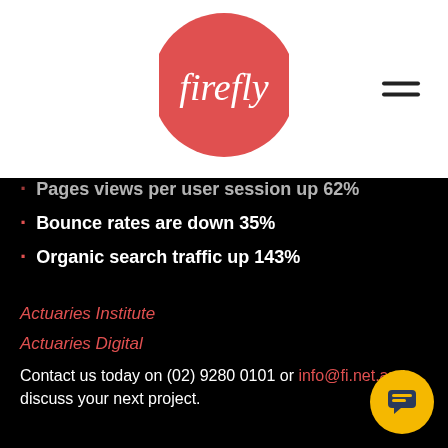[Figure (logo): Firefly logo — red circle with white italic 'firefly' text]
Pages views per user session up 62%
Bounce rates are down 35%
Organic search traffic up 143%
Actuaries Institute
Actuaries Digital
Contact us today on (02) 9280 0101 or info@fi.net.au to discuss your next project.